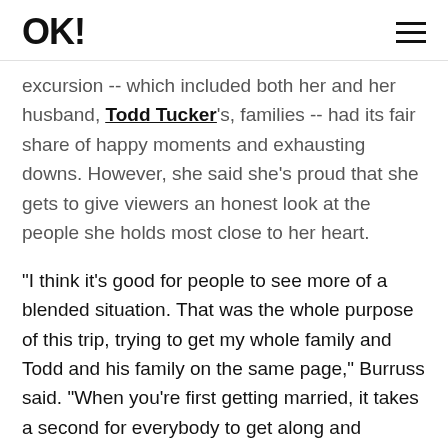OK!
excursion -- which included both her and her husband, Todd Tucker's, families -- had its fair share of happy moments and exhausting downs. However, she said she's proud that she gets to give viewers an honest look at the people she holds most close to her heart.

“I think it’s good for people to see more of a blended situation. That was the whole purpose of this trip, trying to get my whole family and Todd and his family on the same page,” Burruss said. “When you’re first getting married, it takes a second for everybody to get along and everybody to feel